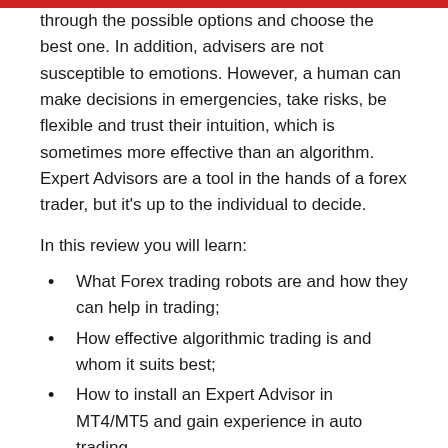through the possible options and choose the best one. In addition, advisers are not susceptible to emotions. However, a human can make decisions in emergencies, take risks, be flexible and trust their intuition, which is sometimes more effective than an algorithm. Expert Advisors are a tool in the hands of a forex trader, but it's up to the individual to decide.
In this review you will learn:
What Forex trading robots are and how they can help in trading;
How effective algorithmic trading is and whom it suits best;
How to install an Expert Advisor in MT4/MT5 and gain experience in auto trading.
The article also discusses Forex trading robots with different algorithms – from grids with a Martingale coefficient to complex systems based on neural networks.